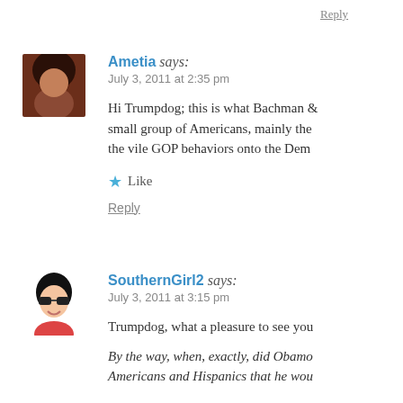Reply
Ametia says: July 3, 2011 at 2:35 pm
Hi Trumpdog; this is what Bachman & small group of Americans, mainly the the vile GOP behaviors onto the Dem
★ Like
Reply
SouthernGirl2 says: July 3, 2011 at 3:15 pm
Trumpdog, what a pleasure to see you
By the way, when, exactly, did Obamo Americans and Hispanics that he wou